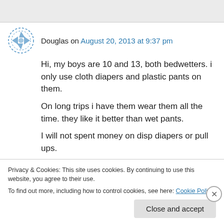Douglas on August 20, 2013 at 9:37 pm
Hi, my boys are 10 and 13, both bedwetters. i only use cloth diapers and plastic pants on them.

On long trips i have them wear them all the time. they like it better than wet pants.

I will not spent money on disp diapers or pull ups.
Privacy & Cookies: This site uses cookies. By continuing to use this website, you agree to their use.
To find out more, including how to control cookies, see here: Cookie Policy